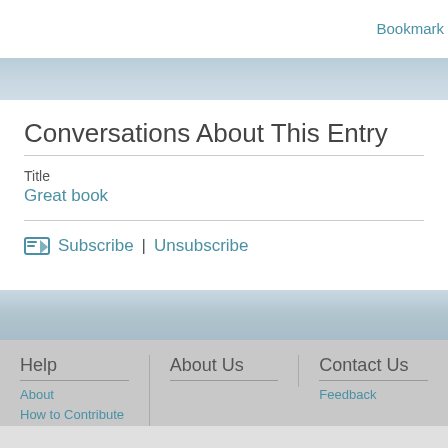Bookmark
Conversations About This Entry
Sign
Title
Great book
Subscribe | Unsubscribe
Help
About
How to Contribute
FAQs
Soapbox
About Us
Contact Us
Feedback